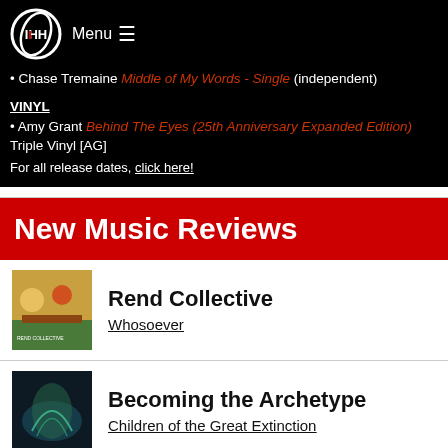[Figure (logo): Circular logo with IHH letters]
Menu ☰
• Chase Tremaine Middle of My Words - Single (independent)
VINYL
• Amy Grant Behind The Eyes (25th Anniversary Expanded Edition) Triple Vinyl [AG]
For all release dates, click here!
New Music Reviews
Rend Collective
Whosoever
Becoming the Archetype
Children of the Great Extinction